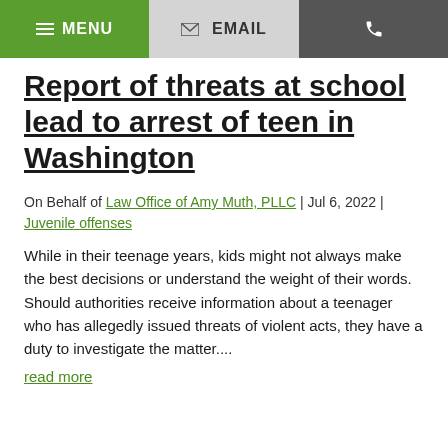≡ MENU  ✉ EMAIL  ☎
Report of threats at school lead to arrest of teen in Washington
On Behalf of Law Office of Amy Muth, PLLC | Jul 6, 2022 | Juvenile offenses
While in their teenage years, kids might not always make the best decisions or understand the weight of their words. Should authorities receive information about a teenager who has allegedly issued threats of violent acts, they have a duty to investigate the matter....
read more